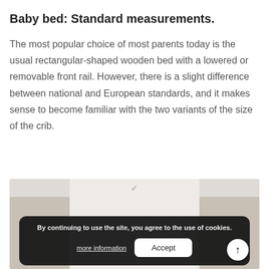Baby bed: Standard measurements.
The most popular choice of most parents today is the usual rectangular-shaped wooden bed with a lowered or removable front rail. However, there is a slight difference between national and European standards, and it makes sense to become familiar with the two variants of the size of the crib.
[Figure (photo): Partial view of a baby crib/bed in a room setting, partially obscured by a cookie consent banner overlay.]